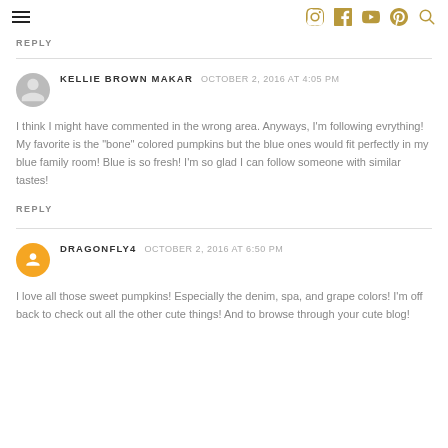REPLY
KELLIE BROWN MAKAR   OCTOBER 2, 2016 AT 4:05 PM
I think I might have commented in the wrong area. Anyways, I'm following evrything! My favorite is the "bone" colored pumpkins but the blue ones would fit perfectly in my blue family room! Blue is so fresh! I'm so glad I can follow someone with similar tastes!
REPLY
DRAGONFLY4   OCTOBER 2, 2016 AT 6:50 PM
I love all those sweet pumpkins! Especially the denim, spa, and grape colors! I'm off back to check out all the other cute things! And to browse through your cute blog!